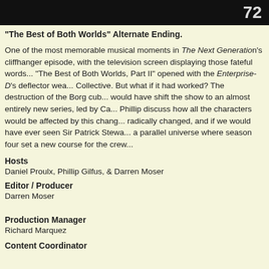[Figure (photo): Dark/black banner image with large white number '72' on the right side]
"The Best of Both Worlds" Alternate Ending.
One of the most memorable musical moments in The Next Generation's cliffhanger episode, with the television screen displaying those fateful words... "The Best of Both Worlds, Part II" opened with the Enterprise-D's deflector weapon failing against the Borg Collective. But what if it had worked? The destruction of the Borg cube would have shift the show to an almost entirely new series, led by Ca... Phillip discuss how all the characters would be affected by this change, how Data was radically changed, and if we would have ever seen Sir Patrick Stewart again. Join us in a parallel universe where season four set a new course for the crew...
Hosts
Daniel Proulx, Phillip Gilfus, & Darren Moser
Editor / Producer
Darren Moser
Production Manager
Richard Marquez
Content Coordinator